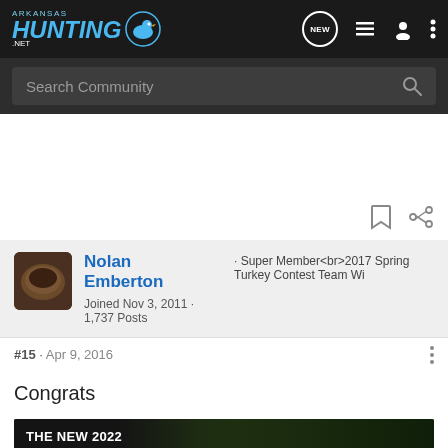[Figure (screenshot): Arkansas Hunting .net website header with logo on left and navigation icons (NEW badge, list, user, menu) on right against dark background]
Search Community
Nolan Emberton · Super Member<br>2017 Spring Turkey Contest Team Wi
Joined Nov 3, 2011 · 1,737 Posts
#15 · Apr 9, 2016
Congrats
[Figure (photo): Chevrolet advertisement banner: THE NEW 2022 SILVERADO. Explore button, truck image on right, Chevrolet logo]